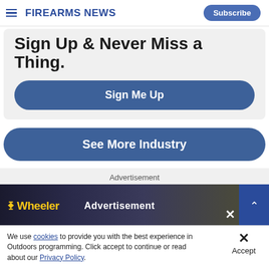Firearms News
Sign Up & Never Miss a Thing.
Sign Me Up
See More Industry
Advertisement
[Figure (screenshot): Wheeler advertisement banner with dark background and logo]
Advertisement
We use cookies to provide you with the best experience in Outdoors programming. Click accept to continue or read about our Privacy Policy.